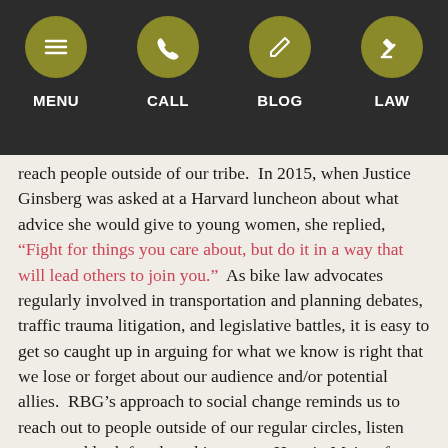MENU | CALL | BLOG | LAW
reach people outside of our tribe.  In 2015, when Justice Ginsberg was asked at a Harvard luncheon about what advice she would give to young women, she replied, “Fight for things you care about, but do it in a way that will lead others to join you.”  As bike law advocates regularly involved in transportation and planning debates, traffic trauma litigation, and legislative battles, it is easy to get so caught up in arguing for what we know is right that we lose or forget about our audience and/or potential allies.  RBG’s approach to social change reminds us to reach out to people outside of our regular circles, listen more, and look for shared interests.  Here in Maine, for example, as the Bicycle Coalition of